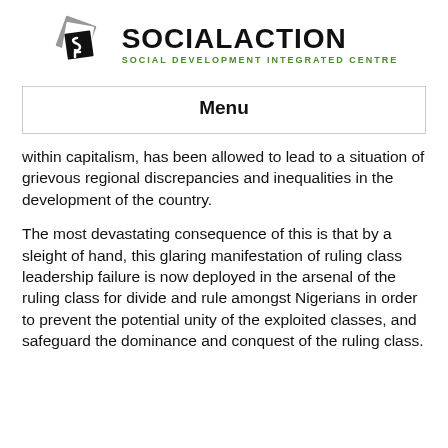[Figure (logo): SocialAction - Social Development Integrated Centre logo with geometric diamond shape mark in black and grey]
Menu
within capitalism, has been allowed to lead to a situation of grievous regional discrepancies and inequalities in the development of the country.
The most devastating consequence of this is that by a sleight of hand, this glaring manifestation of ruling class leadership failure is now deployed in the arsenal of the ruling class for divide and rule amongst Nigerians in order to prevent the potential unity of the exploited classes, and safeguard the dominance and conquest of the ruling class.